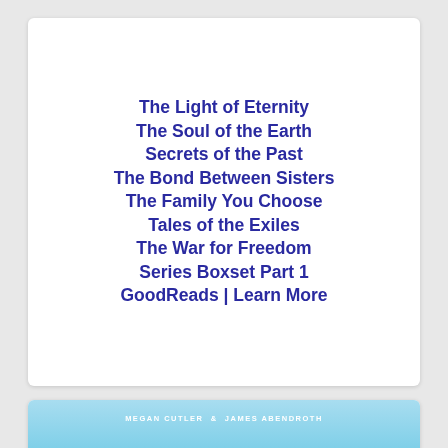The Light of Eternity
The Soul of the Earth
Secrets of the Past
The Bond Between Sisters
The Family You Choose
Tales of the Exiles
The War for Freedom
Series Boxset Part 1
GoodReads | Learn More
[Figure (photo): Book cover showing mountains and a pagoda, authored by Megan Cutler & James Abendroth, with a light blue sky background and green forested hills.]